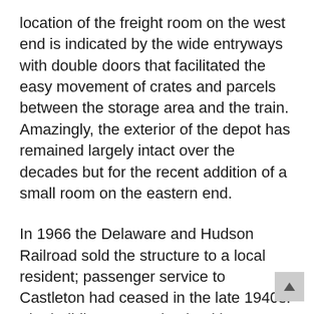location of the freight room on the west end is indicated by the wide entryways with double doors that facilitated the easy movement of crates and parcels between the storage area and the train. Amazingly, the exterior of the depot has remained largely intact over the decades but for the recent addition of a small room on the eastern end.
In 1966 the Delaware and Hudson Railroad sold the structure to a local resident; passenger service to Castleton had ceased in the late 1940s. The building was maintained but not actively used until the owner's daughter, Mary Ann Jakubowski, decided to rehabilitate it in 2005. She and her husband were careful to preserve the building's historic character while upgrading the electrical wiring, the heating system, and lighting. The building